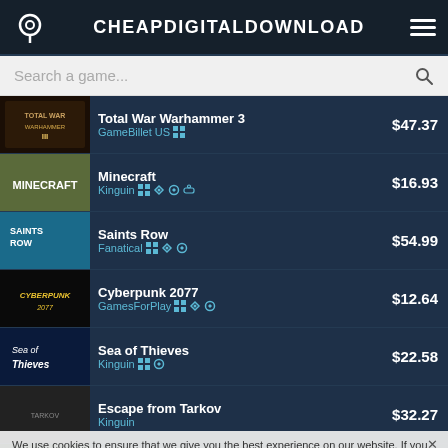CHEAPDIGITALDOWNLOAD
Search a game...
Total War Warhammer 3 | GameBillet US | $47.37
Minecraft | Kinguin | $16.93
Saints Row | Fanatical | $54.99
Cyberpunk 2077 | GamesForPlay | $12.64
Sea of Thieves | Kinguin | $22.58
Escape from Tarkov | Kinguin | $32.27
FIFA 22 | Kinguin | ...74
We use cookies to ensure that we give you the best experience on our website. If you continue to use this site we will assume that you are happy with it.